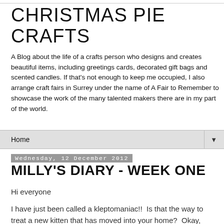CHRISTMAS PIE CRAFTS
A Blog about the life of a crafts person who designs and creates beautiful items, including greetings cards, decorated gift bags and scented candles. If that's not enough to keep me occupied, I also arrange craft fairs in Surrey under the name of A Fair to Remember to showcase the work of the many talented makers there are in my part of the world.
Home
Wednesday, 12 December 2012
MILLY'S DIARY - WEEK ONE
Hi everyone
I have just been called a kleptomaniac!!  Is that the way to treat a new kitten that has moved into your home?  Okay, okay, I have collected a few things since moving in: a carrier...